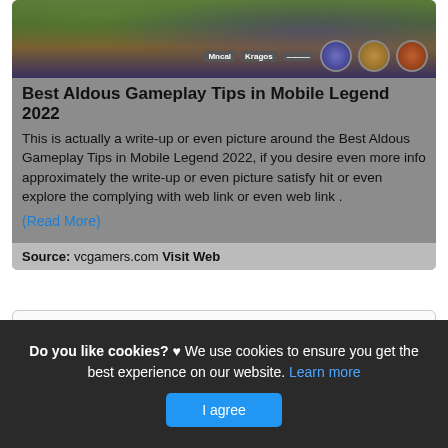[Figure (screenshot): Mobile Legends game screenshot showing characters, HUD elements with circular icons and score badges]
Best Aldous Gameplay Tips in Mobile Legend 2022
This is actually a write-up or even picture around the Best Aldous Gameplay Tips in Mobile Legend 2022, if you desire even more info approximately the write-up or even picture satisfy hit or even explore the complying with web link or even web link .
(Read More)
Source: vcgamers.com Visit Web
[Figure (other): Empty white card/box area]
Do you like cookies? ♥ We use cookies to ensure you get the best experience on our website. Learn more I agree